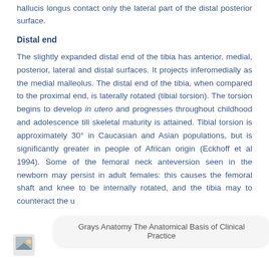hallucis longus contact only the lateral part of the distal posterior surface.
Distal end
The slightly expanded distal end of the tibia has anterior, medial, posterior, lateral and distal surfaces. It projects inferomedially as the medial malleolus. The distal end of the tibia, when compared to the proximal end, is laterally rotated (tibial torsion). The torsion begins to develop in utero and progresses throughout childhood and adolescence till skeletal maturity is attained. Tibial torsion is approximately 30° in Caucasian and Asian populations, but is significantly greater in people of African origin (Eckhoff et al 1994). Some of the femoral neck anteversion seen in the newborn may persist in adult females: this causes the femoral shaft and knee to be internally rotated, and the tibia may to counteract the u